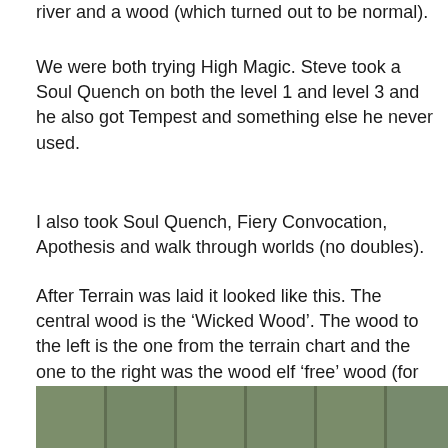river and a wood (which turned out to be normal).
We were both trying High Magic. Steve took a Soul Quench on both the level 1 and level 3 and he also got Tempest and something else he never used.
I also took Soul Quench, Fiery Convocation, Apothesis and walk through worlds (no doubles).
After Terrain was laid it looked like this. The central wood is the ‘Wicked Wood’. The wood to the left is the one from the terrain chart and the one to the right was the wood elf ‘free’ wood (for which I chose the almost compulsory venom thicket). Due to being player ‘B’ on the terrain table I was lucky to be able to place the wood and with my wood form a forest barrier.
[Figure (photo): Partial view of a tabletop gaming board with green terrain tiles/sections visible at the bottom of the page.]